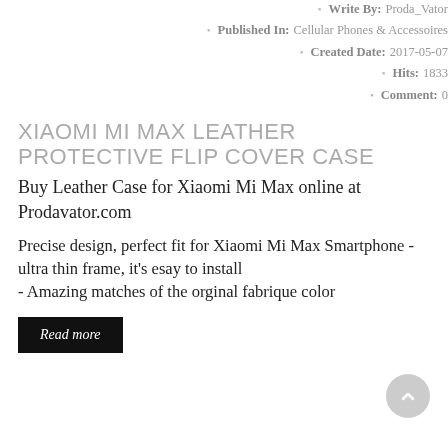Write By: Proda_Vator
Published In: Cellular Phones & Accessoires
Created Date: 2017-05-07
Hits: 1833
Comment: 0
XIAOMI MI MAX LEATHER PROTECTIVE FLIP COVER CASE
Buy Leather Case for Xiaomi Mi Max online at Prodavator.com
Precise design, perfect fit for Xiaomi Mi Max Smartphone - ultra thin frame, it's esay to install - Amazing matches of the orginal fabrique color
Read more